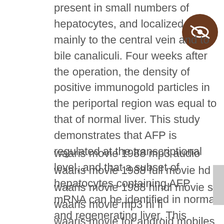present in small numbers of hepatocytes, and localized mainly to the central vein and to bile canaliculi. Four weeks after the operation, the density of positive immunogold particles in the periportal region was equal to that of normal liver. This study demonstrates that AFP is regulated at the transcriptional level, and that a subset of hepatocytes containing AFP mRNA can be identified in normal and regenerating liver. This subset of hepatocytes
waaris movie 1988 mp3 audio
waaris movie 1988 full movie hd 1080p
waaris movie 1988 hindi movie songs
waaris movie mp3 hi fi
waaris movie for android mobiles
waaris movie for cell phones
waaris movie mp3 songs